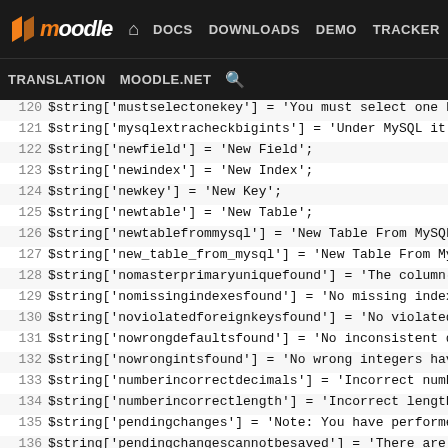Moodle DOCS DOWNLOADS DEMO TRACKER DEV TRANSLATION MOODLE.NET
120 $string['mustselectonekey'] = 'You must select one key
121 $string['mysqlextracheckbigints'] = 'Under MySQL it als
122 $string['newfield'] = 'New Field';
123 $string['newindex'] = 'New Index';
124 $string['newkey'] = 'New Key';
125 $string['newtable'] = 'New Table';
126 $string['newtablefrommysql'] = 'New Table From MySQL';
127 $string['new_table_from_mysql'] = 'New Table From MySQL
128 $string['nomasterprimaryuniquefound'] = 'The column(s)
129 $string['nomissingindexesfound'] = 'No missing indexes
130 $string['noviolatedforeignkeysfound'] = 'No violated fo
131 $string['nowrongdefaultsfound'] = 'No inconsistent defa
132 $string['nowrongintsfound'] = 'No wrong integers have b
133 $string['numberincorrectdecimals'] = 'Incorrect number
134 $string['numberincorrectlength'] = 'Incorrect length fo
135 $string['pendingchanges'] = 'Note: You have performed c
136 $string['pendingchangescannotbesaved'] = 'There are cha
137 $string['pendingchangescannotbesavedreload'] = 'There a
138 $string['reserved'] = 'Reserved';
139 $string['reservedwords'] = 'Reserved words';
140 $string['revert'] = 'Revert';
141 $string['revert_changes'] = 'Revert Changes';
142 $string['save'] = 'Save';
143 $string['searchresults'] = 'Search Results';
144 $string['selectaction'] = 'Select Action:';
145 $string['selectdb'] = 'Select Database:';
146 $string['selectfieldkeyindex'] = 'Select Field/Key/Inde